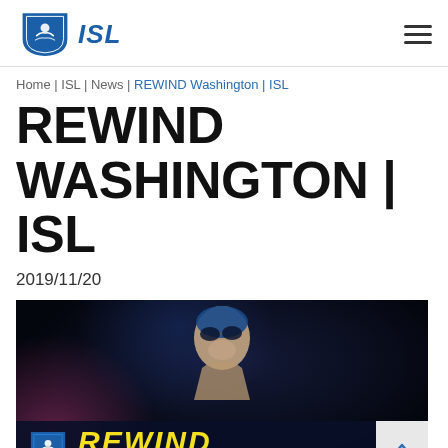ISL logo | hamburger menu
Home | ISL | News | REWIND Washington | ISL
REWIND WASHINGTON | ISL
2019/11/20
[Figure (screenshot): Dark video thumbnail showing a swimmer looking up with ISL logo and 'REWIND' text in yellow, subtitle 'WASHINGTON VS DERBY' partially visible at bottom.]